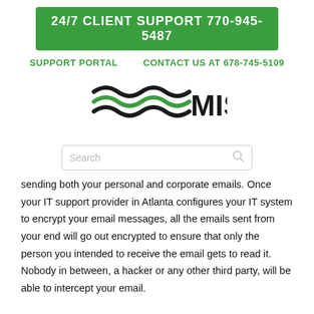24/7 CLIENT SUPPORT 770-945-5487
SUPPORT PORTAL   CONTACT US AT 678-745-5109
[Figure (logo): MIS company logo with stylized green and black wave lines and text 'MIS']
Search
sending both your personal and corporate emails. Once your IT support provider in Atlanta configures your IT system to encrypt your email messages, all the emails sent from your end will go out encrypted to ensure that only the person you intended to receive the email gets to read it. Nobody in between, a hacker or any other third party, will be able to intercept your email.